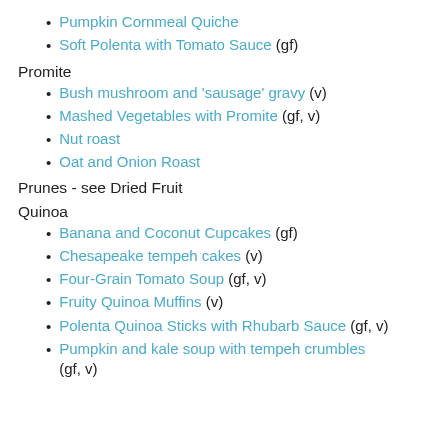Pumpkin Cornmeal Quiche
Soft Polenta with Tomato Sauce (gf)
Promite
Bush mushroom and 'sausage' gravy (v)
Mashed Vegetables with Promite (gf, v)
Nut roast
Oat and Onion Roast
Prunes - see Dried Fruit
Quinoa
Banana and Coconut Cupcakes (gf)
Chesapeake tempeh cakes (v)
Four-Grain Tomato Soup (gf, v)
Fruity Quinoa Muffins (v)
Polenta Quinoa Sticks with Rhubarb Sauce (gf, v)
Pumpkin and kale soup with tempeh crumbles (gf, v)